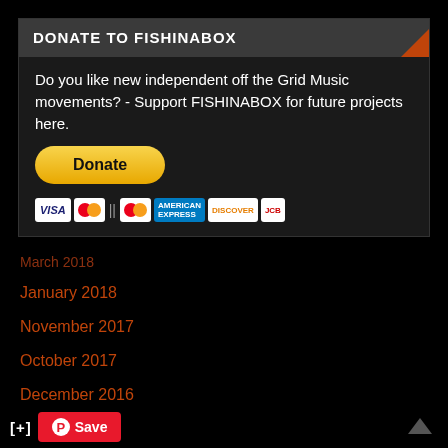DONATE TO FISHINABOX
Do you like new independent off the Grid Music movements? - Support FISHINABOX for future projects here.
[Figure (other): PayPal Donate button (yellow rounded rectangle with bold Donate text) and payment method icons: VISA, Mastercard, American Express, Discover, JCB]
March 2018
January 2018
November 2017
October 2017
December 2016
November 2016
July 2016
June 2016